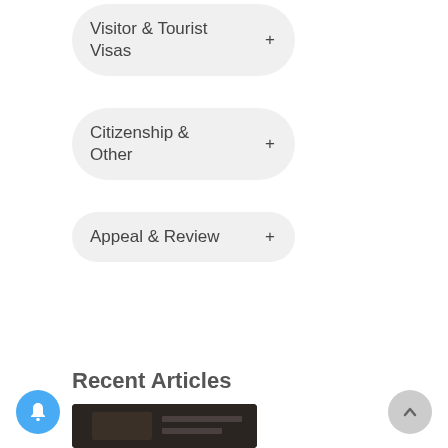Visitor & Tourist Visas +
Citizenship & Other +
Appeal & Review +
Recent Articles
[Figure (photo): Thumbnail image of an article, dark background with indistinct subject]